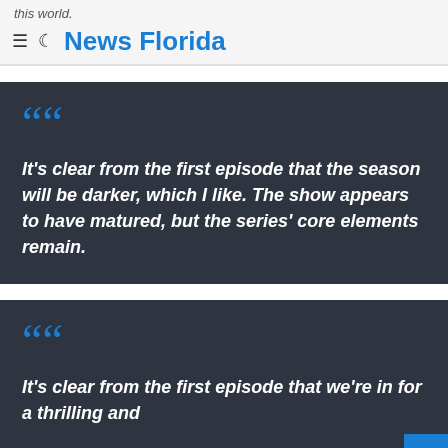this world.
News Florida
It's clear from the first episode that the season will be darker, which I like. The show appears to have matured, but the series' core elements remain.
It's clear from the first episode that we're in for a thrilling and